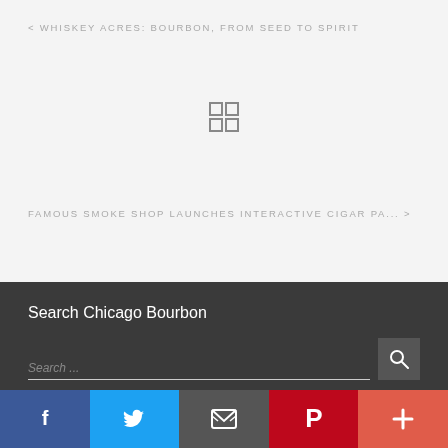< WHISKEY ACRES: BOURBON, FROM SEED TO SPIRIT
[Figure (other): Grid/menu icon (2x2 squares)]
FAMOUS SMOKE SHOP LAUNCHES INTERACTIVE CIGAR PA... >
Search Chicago Bourbon
Search ...
Subscribe to Chicago Bourbon!
Enter your email
[Figure (infographic): Social share bar with icons: Facebook (blue), Twitter (light blue), Email (gray), Pinterest (red), More/Plus (red-orange)]